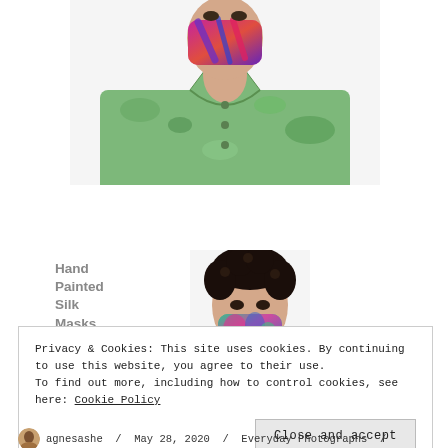[Figure (photo): Person wearing a colorful hand-painted face mask with pink/purple/blue brushstrokes, dressed in a green camouflage/floral shirt, photographed from chest up on white background]
Hand Painted Silk Masks
[Figure (photo): Person with curly dark hair wearing a colorful teal/green/pink hand-painted silk face mask, photographed from chin up on white background]
Privacy & Cookies: This site uses cookies. By continuing to use this website, you agree to their use.
To find out more, including how to control cookies, see here: Cookie Policy
Close and accept
agnesashe / May 28, 2020 / Everyday Photographs /